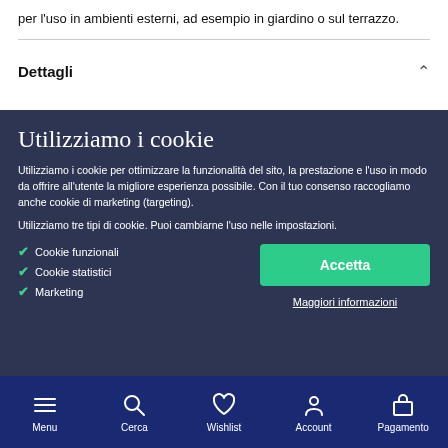per l'uso in ambienti esterni, ad esempio in giardino o sul terrazzo.
Dettagli
Utilizziamo i cookie
Utilizziamo i cookie per ottimizzare la funzionalità del sito, la prestazione e l'uso in modo da offrire all'utente la migliore esperienza possibile. Con il tuo consenso raccogliamo anche cookie di marketing (targeting).
Utilizziamo tre tipi di cookie. Puoi cambiarne l'uso nelle impostazioni.
Cookie funzionali
Cookie statistici
Marketing
Accetta
Maggiori informazioni
Menu   Cerca   Wishlist   Account   Pagamento